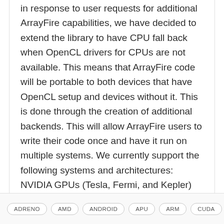in response to user requests for additional ArrayFire capabilities, we have decided to extend the library to have CPU fall back when OpenCL drivers for CPUs are not available. This means that ArrayFire code will be portable to both devices that have OpenCL setup and devices without it. This is done through the creation of additional backends. This will allow ArrayFire users to write their code once and have it run on multiple systems. We currently support the following systems and architectures: NVIDIA GPUs (Tesla, Fermi, and Kepler) AMD's GPUs, CPUs and APUs Intel's CPUs, GPUs and Xeon Phi Co-Processor Mobile and Embedded devices As part of this update process we are also looking at extending ArrayFire capabilities to low power systems such ...
Read More
ADRENO
AMD
ANDROID
APU
ARM
CUDA